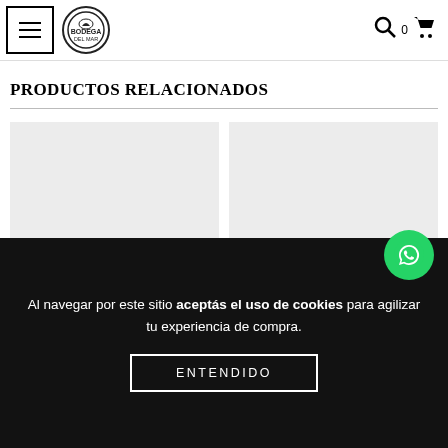Menu | Logo | Search | 0 | Cart
PRODUCTOS RELACIONADOS
[Figure (photo): Two product card placeholders with light gray background]
[Figure (other): WhatsApp green circle button with phone icon]
Al navegar por este sitio aceptás el uso de cookies para agilizar tu experiencia de compra.
ENTENDIDO